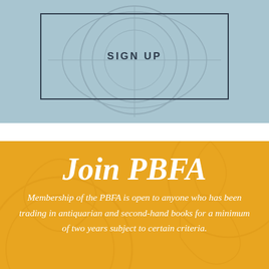SIGN UP
Join PBFA
Membership of the PBFA is open to anyone who has been trading in antiquarian and second-hand books for a minimum of two years subject to certain criteria.